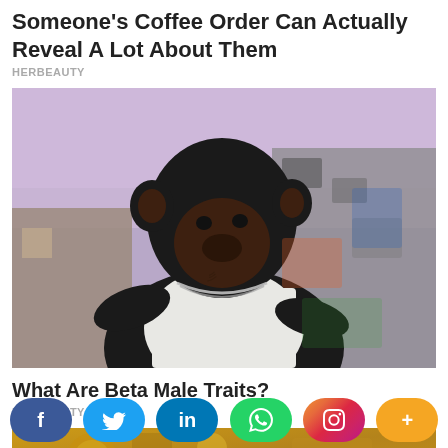Someone's Coffee Order Can Actually Reveal A Lot About Them
HERBEAUTY
[Figure (photo): A chimpanzee wearing a white tank top and a silver chain necklace, posing confidently against a graffiti wall background with an urban setting.]
What Are Beta Male Traits?
HERBEAUTY
[Figure (photo): Partial view of a golden decorative scene, bottom of page.]